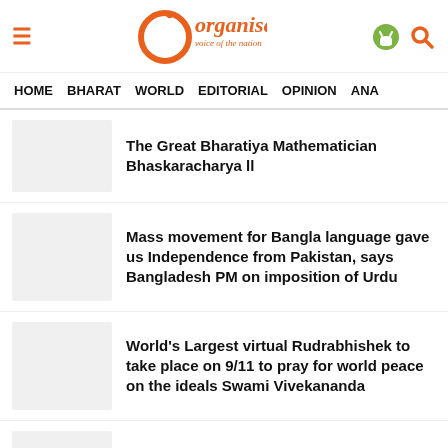Organiser — voice of the nation
HOME  BHARAT  WORLD  EDITORIAL  OPINION  ANA
The Great Bharatiya Mathematician Bhaskaracharya ll
Mass movement for Bangla language gave us Independence from Pakistan, says Bangladesh PM on imposition of Urdu
World's Largest virtual Rudrabhishek to take place on 9/11 to pray for world peace on the ideals Swami Vivekananda
Madrassa teacher from Hyderabad arrested for sodomizing a 14-year-old boy